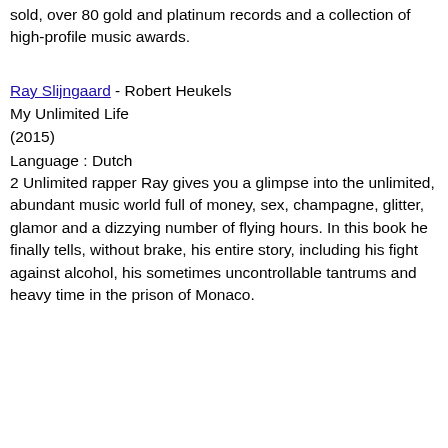sold, over 80 gold and platinum records and a collection of high-profile music awards.
Ray Slijngaard - Robert Heukels
My Unlimited Life
(2015)
Language : Dutch
2 Unlimited rapper Ray gives you a glimpse into the unlimited, abundant music world full of money, sex, champagne, glitter, glamor and a dizzying number of flying hours. In this book he finally tells, without brake, his entire story, including his fight against alcohol, his sometimes uncontrollable tantrums and heavy time in the prison of Monaco.